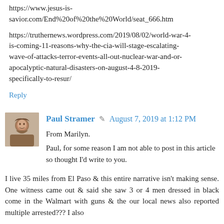https://www.jesus-is-savior.com/End%20of%20the%20World/seat_666.htm
https://truthernews.wordpress.com/2019/08/02/world-war-4-is-coming-11-reasons-why-the-cia-will-stage-escalating-wave-of-attacks-terror-events-all-out-nuclear-war-and-or-apocalyptic-natural-disasters-on-august-4-8-2019-specifically-to-resur/
Reply
Paul Stramer ✎ August 7, 2019 at 1:12 PM
From Marilyn.

Paul, for some reason I am not able to post in this article so thought I'd write to you.

I live 35 miles from El Paso & this entire narrative isn't making sense. One witness came out & said she saw 3 or 4 men dressed in black come in the Walmart with guns & the our local news also reported multiple arrested??? I also